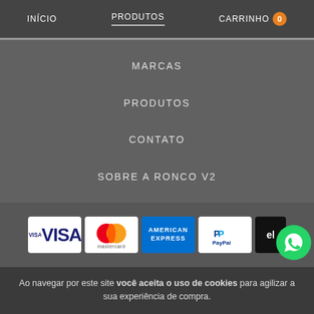INÍCIO  PRODUTOS  CARRINHO 0
MARCAS
PRODUTOS
CONTATO
SOBRE A RONCO V2
[Figure (other): Payment method logos: Visa, Mastercard, American Express, PayPal, and another card; WhatsApp floating button]
Ao navegar por este site você aceita o uso de cookies para agilizar a sua experiência de compra.
ENTENDI